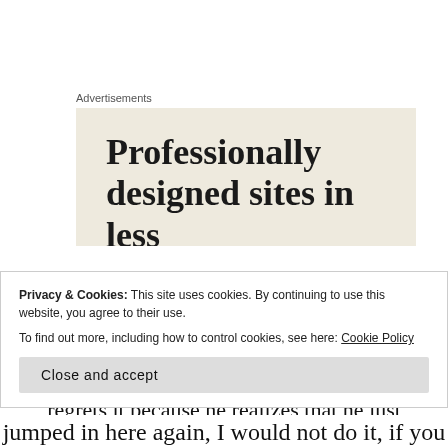Advertisements
[Figure (illustration): Advertisement banner with beige background showing text 'Professionally designed sites in less']
When Paul goes back into the front lines, he is all alone. He's lost and in a hole, and it's quite possibly an enemy hole. He ends up killing an enemy, but he immediately regrets it because he realizes that he just killed a
Privacy & Cookies: This site uses cookies. By continuing to use this website, you agree to their use.
To find out more, including how to control cookies, see here: Cookie Policy
jumped in here again, I would not do it, if you